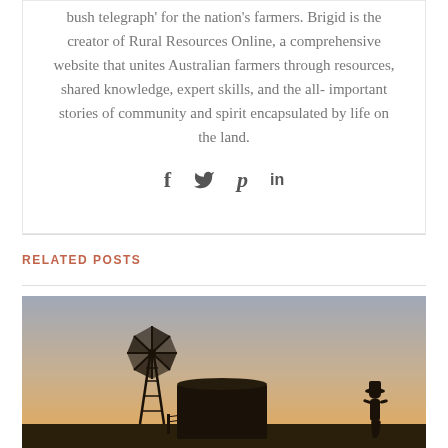bush telegraph' for the nation's farmers. Brigid is the creator of Rural Resources Online, a comprehensive website that unites Australian farmers through resources, shared knowledge, expert skills, and the all-important stories of community and spirit encapsulated by life on the land.
[Figure (infographic): Social media sharing icons: Facebook (f), Twitter (bird), Pinterest (p), LinkedIn (in)]
RELATED POSTS
[Figure (photo): Silhouette sunset photograph of an Australian rural scene with a windmill on the left, a large water tank in the center, and a person wearing a hat walking on the right, against a warm orange and grey gradient sky.]